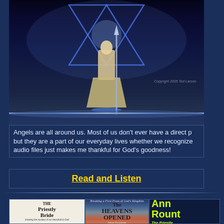[Figure (illustration): Angel figure with staff/sword standing before Star of David symbol, glowing light beams, earth/space background. Copyright 2005 Ted Larson watermark visible.]
Angels are all around us. Most of us don't ever have a direct p... but they are a part of our everyday lives whether we recognize... audio files just makes me thankful for God's goodness!
Read and Listen
[Figure (illustration): Book cover: The Priestly Bride - knowing the mystery of our betrothal to God]
[Figure (illustration): Book cover: The Heavens Opened by Anne Rountree]
Ann... Rount... The Priestly